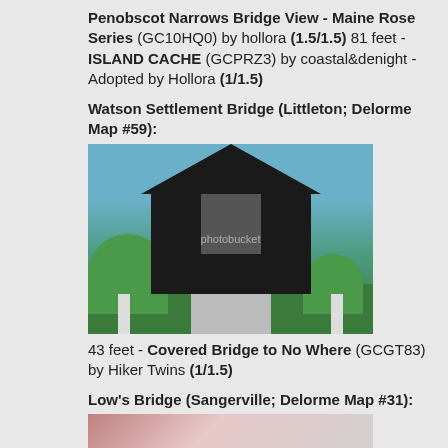Penobscot Narrows Bridge View - Maine Rose Series (GC10HQ0) by hollora (1.5/1.5) 81 feet - ISLAND CACHE (GCPRZ3) by coastal&denight - Adopted by Hollora (1/1.5)
Watson Settlement Bridge (Littleton; Delorme Map #59):
[Figure (photo): Photo of Watson Settlement Bridge, a covered wooden bridge with dark exterior, white support columns, surrounded by green foliage and trees against a blue sky]
43 feet - Covered Bridge to No Where (GCGT83) by Hiker Twins (1/1.5)
Low's Bridge (Sangerville; Delorme Map #31):
[Figure (photo): Partial photo of Low's Bridge, partially visible at bottom of page]